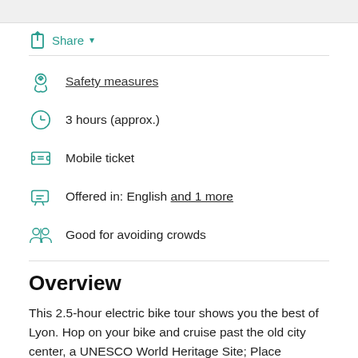Share
Safety measures
3 hours (approx.)
Mobile ticket
Offered in: English and 1 more
Good for avoiding crowds
Overview
This 2.5-hour electric bike tour shows you the best of Lyon. Hop on your bike and cruise past the old city center, a UNESCO World Heritage Site; Place Bellecour with its statue of Louis XIV; the colorful